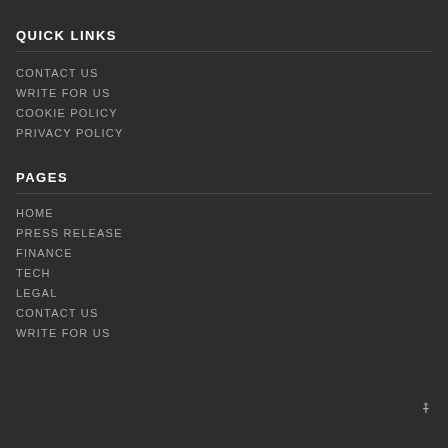QUICK LINKS
CONTACT US
WRITE FOR US
COOKIE POLICY
PRIVACY POLICY
PAGES
HOME
PRESS RELEASE
FINANCE
TECH
LEGAL
CONTACT US
WRITE FOR US